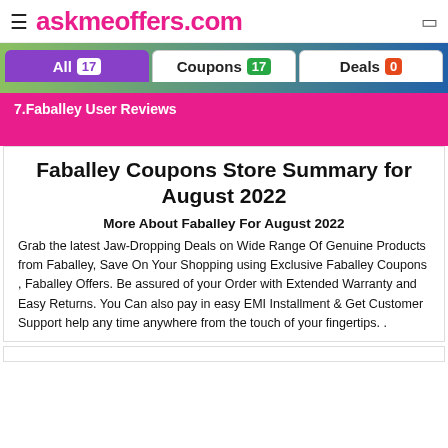≡ askmeoffers.com
All 17  Coupons 17  Deals 0
7.Faballey User Reviews
Faballey Coupons Store Summary for August 2022
More About Faballey For August 2022
Grab the latest Jaw-Dropping Deals on Wide Range Of Genuine Products from Faballey, Save On Your Shopping using Exclusive Faballey Coupons , Faballey Offers. Be assured of your Order with Extended Warranty and Easy Returns. You Can also pay in easy EMI Installment & Get Customer Support help any time anywhere from the touch of your fingertips. .